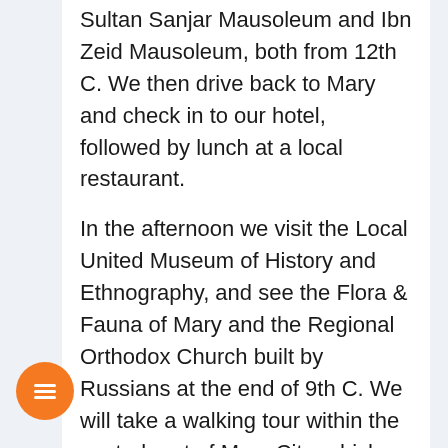Sultan Sanjar Mausoleum and Ibn Zeid Mausoleum, both from 12th C. We then drive back to Mary and check in to our hotel, followed by lunch at a local restaurant.
In the afternoon we visit the Local United Museum of History and Ethnography, and see the Flora & Fauna of Mary and the Regional Orthodox Church built by Russians at the end of 9th C. We will take a walking tour within the central part of Mary City, which has The Regional Mosque of Mary Providence, The Central Theater of Mary, The Convention & Conference Center “Ruhiyet Koshgi,” Central Park, and the Monument of Mollanepes, the National Classic Poet who lived in Mary in the 18th … will enjoy dinner at a local restaurant tonight.